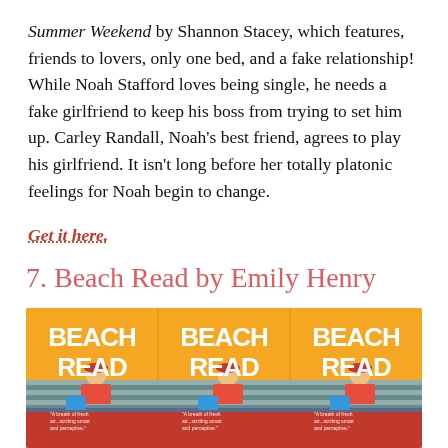Summer Weekend by Shannon Stacey, which features, friends to lovers, only one bed, and a fake relationship! While Noah Stafford loves being single, he needs a fake girlfriend to keep his boss from trying to set him up. Carley Randall, Noah's best friend, agrees to play his girlfriend. It isn't long before her totally platonic feelings for Noah begin to change.
Get it here.
7. Beach Read by Emily Henry
[Figure (photo): Book cover of Beach Read by Emily Henry showing three tiled copies of the book cover on a yellow/orange background with white bold text reading BEACH READ and an illustration of a person reading on a striped beach towel]